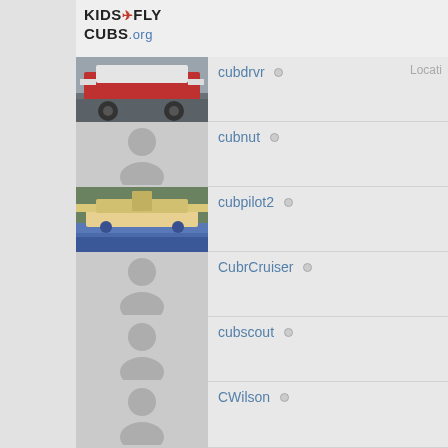[Figure (logo): KidsFlyCubs.org logo with stylized text]
cubdrvr (offline) Location
cubnut (offline)
cubpilot2 (offline)
CubrCruiser (offline)
cubscout (offline)
CWilson (offline)
D C (offline)